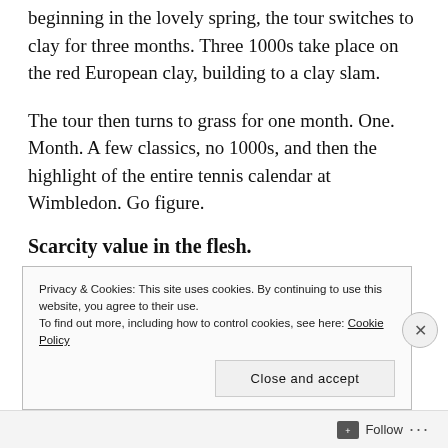beginning in the lovely spring, the tour switches to clay for three months. Three 1000s take place on the red European clay, building to a clay slam.
The tour then turns to grass for one month. One. Month. A few classics, no 1000s, and then the highlight of the entire tennis calendar at Wimbledon. Go figure.
Scarcity value in the flesh.
Privacy & Cookies: This site uses cookies. By continuing to use this website, you agree to their use.
To find out more, including how to control cookies, see here: Cookie Policy
Follow ...